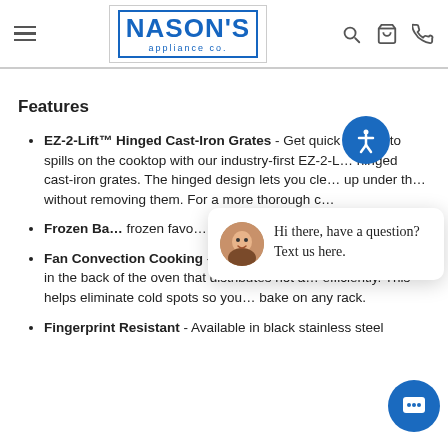[Figure (logo): Nason's Appliance Co. logo in blue with border, navigation header with hamburger menu, search, cart, and phone icons]
Features
EZ-2-Lift™ Hinged Cast-Iron Grates - Get quick access to spills on the cooktop with our industry-first EZ-2-Lift™ hinged cast-iron grates. The hinged design lets you clean up under them without removing them. For a more thorough cleaning...
Frozen Bake™ - [partially obscured] frozen favorites with preprogrammed...
Fan Convection Cooking - Cook meals consistently, with a fan in the back of the oven that distributes hot air more efficiently. This helps eliminate cold spots so you can bake on any rack.
Fingerprint Resistant - Available in black stainless steel and stainless steel finishes that...